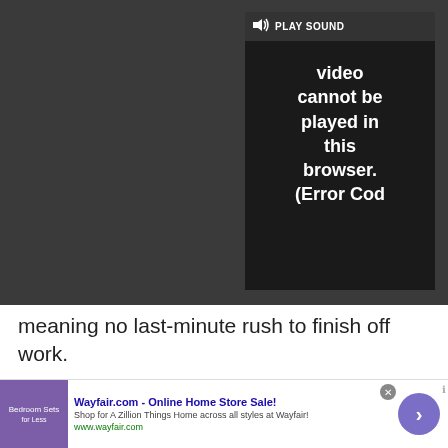[Figure (screenshot): Video player overlay on dark gray background showing error message: 'Video cannot be played in this browser. (Error Cod' with PLAY SOUND button, close X button, and expand arrows button.]
meaning no last-minute rush to finish off work.
[Figure (screenshot): Advertisement banner labeled 'Advertisement' for Bitdefender showing 'Best-in-class digital protection for all your digital needs' with Back To School graphic on the right side.]
[Figure (screenshot): Bottom banner advertisement for Wayfair.com - Online Home Store Sale! with text 'Shop for A Zillion Things Home across all styles at Wayfair!' and URL www.wayfair.com, with purple circular arrow button on right.]